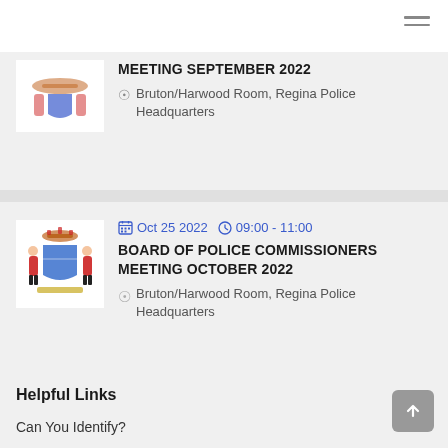[Figure (screenshot): Partial top navigation bar with hamburger menu icon (three horizontal lines) at top right]
MEETING SEPTEMBER 2022
Bruton/Harwood Room, Regina Police Headquarters
[Figure (logo): Regina Police coat of arms logo — two RCMP officers flanking a blue shield with crown on top, on white background]
Oct 25 2022  09:00 - 11:00
BOARD OF POLICE COMMISSIONERS MEETING OCTOBER 2022
Bruton/Harwood Room, Regina Police Headquarters
Helpful Links
Can You Identify?